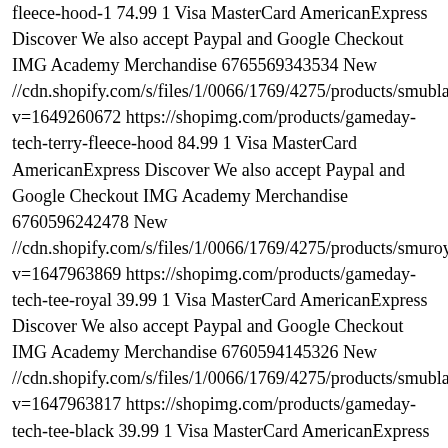fleece-hood-1 74.99 1 Visa MasterCard AmericanExpress Discover We also accept Paypal and Google Checkout IMG Academy Merchandise 6765569343534 New //cdn.shopify.com/s/files/1/0066/1769/4275/products/smublackhood_ v=1649260672 https://shopimg.com/products/gameday-tech-terry-fleece-hood 84.99 1 Visa MasterCard AmericanExpress Discover We also accept Paypal and Google Checkout IMG Academy Merchandise 6760596242478 New //cdn.shopify.com/s/files/1/0066/1769/4275/products/smuroyaltech_l v=1647963869 https://shopimg.com/products/gameday-tech-tee-royal 39.99 1 Visa MasterCard AmericanExpress Discover We also accept Paypal and Google Checkout IMG Academy Merchandise 6760594145326 New //cdn.shopify.com/s/files/1/0066/1769/4275/products/smublacktech_ v=1647963817 https://shopimg.com/products/gameday-tech-tee-black 39.99 1 Visa MasterCard AmericanExpress Discover We also accept Paypal and Google Checkout IMG Academy Merchandise 6757784158254 New //cdn.shopify.com/s/files/1/0066/1769/4275/products/newgreyhoodie v=1647271688 https://shopimg.com/products/armour-fleece-hood-1 74.99 1 Visa MasterCard AmericanExpress Discover We also accept Paypal and Google Checkout IMG Academy Merchandise 6757016141870 New //cdn.shopify.com/s/files/1/0066/1769/4275/products/polyjacket_larg v=1647271653 https://shopimg.com/products/polartec%C2%AE-full-zip 84.99 1 Visa MasterCard AmericanExpress Discover We